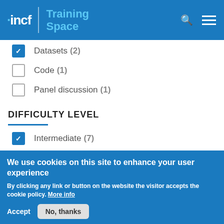INCF Training Space
Datasets (2) — checked
Code (1) — unchecked
Panel discussion (1) — unchecked
DIFFICULTY LEVEL
Intermediate (7) — checked
Advanced (5) — checked
Beginner (3) — unchecked
We use cookies on this site to enhance your user experience
By clicking any link or button on the website the visitor accepts the cookie policy. More info
Accept  No, thanks